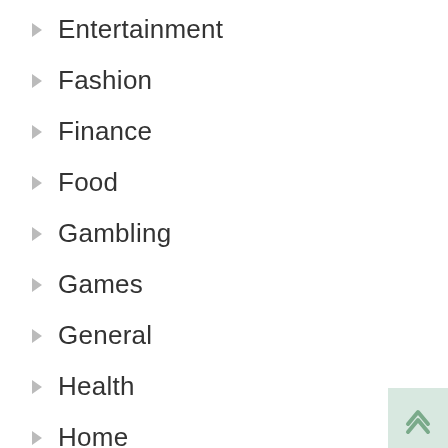Entertainment
Fashion
Finance
Food
Gambling
Games
General
Health
Home
Home Improvement
Law
Pets